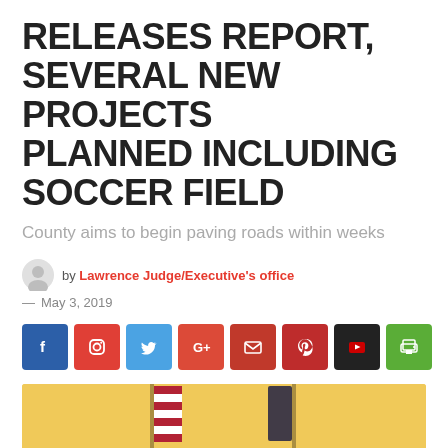RELEASES REPORT, SEVERAL NEW PROJECTS PLANNED INCLUDING SOCCER FIELD
County aims to begin paving roads within weeks
by Lawrence Judge/Executive's office — May 3, 2019
[Figure (photo): Photo of a person at a podium with flags and the Lawrence County Fiscal Court seal in the background, set against a yellow/gold wall.]